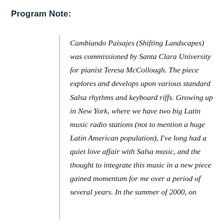Program Note:
Cambiando Paisajes (Shifting Landscapes) was commissioned by Santa Clara University for pianist Teresa McCollough. The piece explores and develops upon various standard Salsa rhythms and keyboard riffs. Growing up in New York, where we have two big Latin music radio stations (not to mention a huge Latin American population), I've long had a quiet love affair with Salsa music, and the thought to integrate this music in a new piece gained momentum for me over a period of several years. In the summer of 2000, on